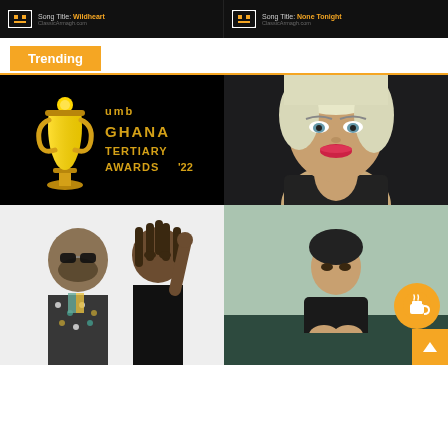[Figure (screenshot): Top left: Song card with logo and text 'Song Title: Wildheart' on dark background, site url ClassicArmagh.com]
[Figure (screenshot): Top right: Song card with logo and text 'Song Title: None Tonight' on dark background, site url ClassicArmagh.com]
Trending
[Figure (logo): UMB Ghana Tertiary Awards '22 logo with golden trophy on black background]
[Figure (photo): Woman with blonde/white hair, red lipstick, black top, looking up at camera]
[Figure (photo): Two men posing: one with sunglasses in patterned shirt, one with dreadlocks making gesture, light background]
[Figure (photo): Young person in black outfit seated, teal/green background, with orange coffee cup button overlay]